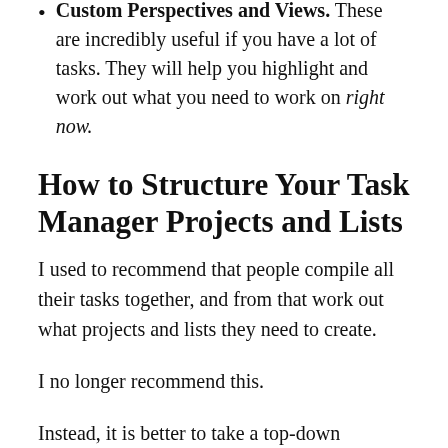Custom Perspectives and Views. These are incredibly useful if you have a lot of tasks. They will help you highlight and work out what you need to work on right now.
How to Structure Your Task Manager Projects and Lists
I used to recommend that people compile all their tasks together, and from that work out what projects and lists they need to create.
I no longer recommend this.
Instead, it is better to take a top-down approach